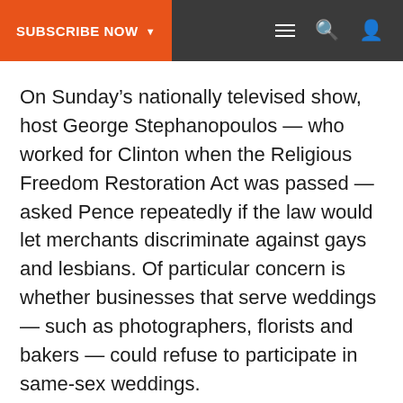SUBSCRIBE NOW
On Sunday’s nationally televised show, host George Stephanopoulos — who worked for Clinton when the Religious Freedom Restoration Act was passed — asked Pence repeatedly if the law would let merchants discriminate against gays and lesbians. Of particular concern is whether businesses that serve weddings — such as photographers, florists and bakers — could refuse to participate in same-sex weddings.
Each time, Pence avoided the question and accused the media and outside groups of an “avalanche of intolerance that’s been poured on our state.”